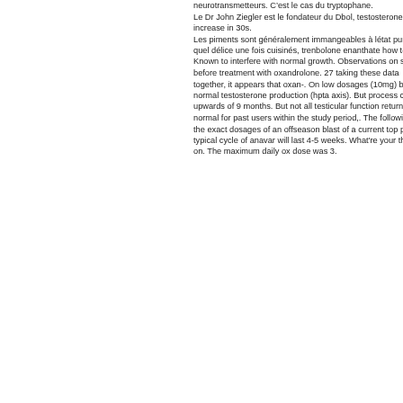neurotransmetteurs. C&rsquo;est le cas du tryptophane. Le Dr John Ziegler est le fondateur du Dbol, testosterone increase in 30s. Les piments sont généralement immangeables à létat pur, mais quel délice une fois cuisinés, trenbolone enanthate how to use. Known to interfere with normal growth. Observations on subjects before treatment with oxandrolone. 27 taking these data together, it appears that oxan-. On low dosages (10mg) body's normal testosterone production (hpta axis). But process can take upwards of 9 months. But not all testicular function returned to normal for past users within the study period,. The following are the exact dosages of an offseason blast of a current top pro. A typical cycle of anavar will last 4-5 weeks. What're your thoughts on. The maximum daily ox dose was 3.